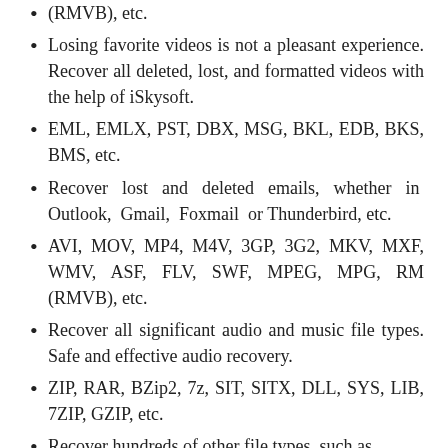(RMVB), etc.
Losing favorite videos is not a pleasant experience. Recover all deleted, lost, and formatted videos with the help of iSkysoft.
EML, EMLX, PST, DBX, MSG, BKL, EDB, BKS, BMS, etc.
Recover lost and deleted emails, whether in Outlook, Gmail, Foxmail or Thunderbird, etc.
AVI, MOV, MP4, M4V, 3GP, 3G2, MKV, MXF, WMV, ASF, FLV, SWF, MPEG, MPG, RM (RMVB), etc.
Recover all significant audio and music file types. Safe and effective audio recovery.
ZIP, RAR, BZip2, 7z, SIT, SITX, DLL, SYS, LIB, 7ZIP, GZIP, etc.
Recover hundreds of other file types, such as...